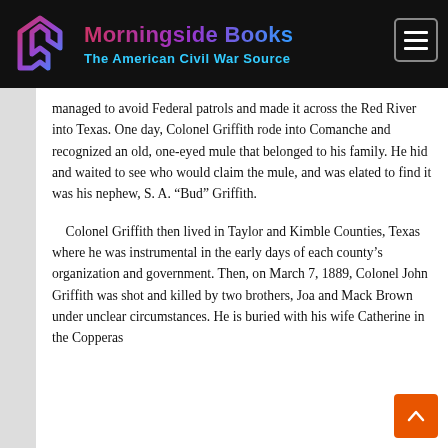Morningside Books — The American Civil War Source
managed to avoid Federal patrols and made it across the Red River into Texas. One day, Colonel Griffith rode into Comanche and recognized an old, one-eyed mule that belonged to his family. He hid and waited to see who would claim the mule, and was elated to find it was his nephew, S. A. “Bud” Griffith.
Colonel Griffith then lived in Taylor and Kimble Counties, Texas where he was instrumental in the early days of each county’s organization and government. Then, on March 7, 1889, Colonel John Griffith was shot and killed by two brothers, Joa and Mack Brown under unclear circumstances. He is buried with his wife Catherine in the Copperas